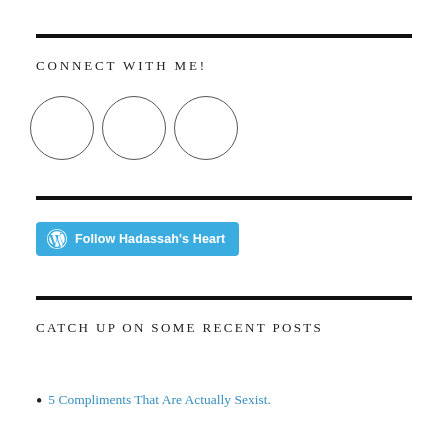CONNECT WITH ME!
[Figure (illustration): Three empty circles representing social media icon placeholders]
[Figure (other): Follow Hadassah's Heart WordPress follow button (teal/blue rounded rectangle with WordPress icon)]
CATCH UP ON SOME RECENT POSTS
5 Compliments That Are Actually Sexist.